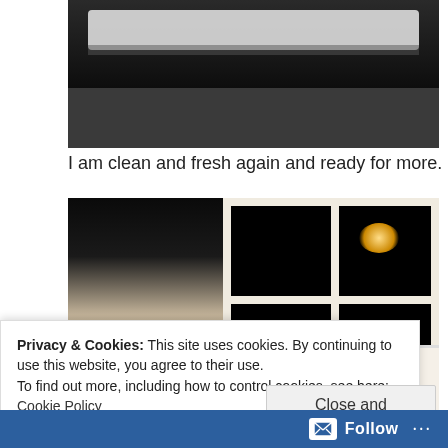[Figure (photo): Nighttime outdoor scene with a park bench or similar seating visible at the top, dark pavement below, taken at night.]
I am clean and fresh again and ready for more.
[Figure (photo): Indoor kitchen scene with a child in a red outfit leaning over a counter decorated with Christmas items, a window showing darkness outside, and decorative items on the countertop.]
Privacy & Cookies: This site uses cookies. By continuing to use this website, you agree to their use.
To find out more, including how to control cookies, see here: Cookie Policy
Close and accept
Follow